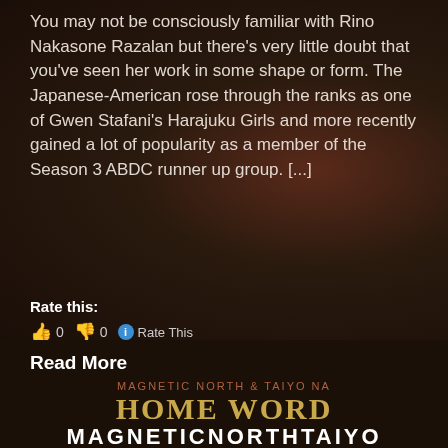You may not be consciously familiar with Rino Nakasone Razalan but there's very little doubt that you've seen her work in some shape or form. The Japanese-American rose through the ranks as one of Gwen Stafani's Harajuku Girls and more recently gained a lot of popularity as a member of the Season 3 ABDC runner up group. [...]
Rate this:
👍 0 👎 0 ℹ Rate This
Read More
[Figure (other): Dark background image with decorative blurred bokeh lights, reddish-brown tones forming the backdrop for the article excerpt.]
MAGNETIC NORTH & TAIYO NA
HOME WORD
MAGNETICNORTHTAIYO